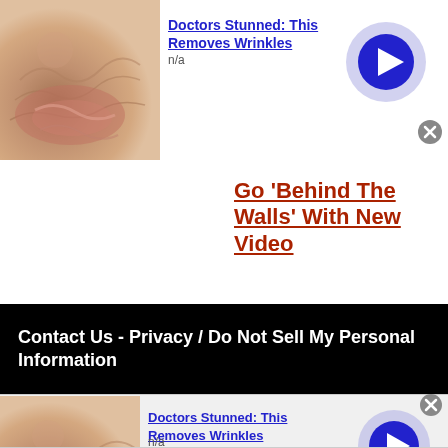[Figure (screenshot): Thumbnail of close-up wrinkled skin/lips]
Doctors Stunned: This Removes Wrinkles
n/a
[Figure (illustration): Play button: lavender circle with dark blue inner circle and right-pointing arrow]
[Figure (illustration): Close button: small grey circle with X]
Go 'Behind The Walls' With New Video
Contact Us - Privacy / Do Not Sell My Personal Information
[Figure (screenshot): Thumbnail of close-up wrinkled skin/lips (repeated ad)]
Doctors Stunned: This Removes Wrinkles
n/a
[Figure (illustration): Play button: lavender circle with dark blue inner circle and right-pointing arrow (bottom ad)]
[Figure (illustration): Close button: small grey circle with X (bottom ad)]